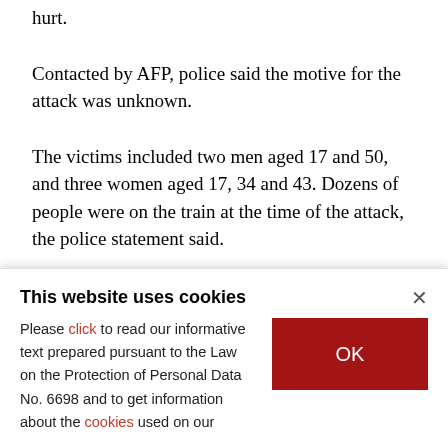hurt.
Contacted by AFP, police said the motive for the attack was unknown.
The victims included two men aged 17 and 50, and three women aged 17, 34 and 43. Dozens of people were on the train at the time of the attack, the police statement said.
A massive contingent of rescue workers rushed to
This website uses cookies
Please click to read our informative text prepared pursuant to the Law on the Protection of Personal Data No. 6698 and to get information about the cookies used on our
OK